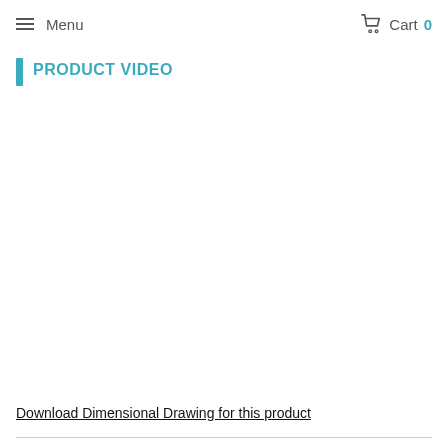Menu  Cart 0
PRODUCT VIDEO
Download Dimensional Drawing for this product